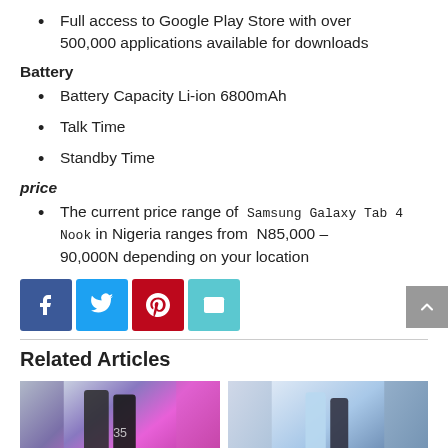Full access to Google Play Store with over 500,000 applications available for downloads
Battery
Battery Capacity Li-ion 6800mAh
Talk Time
Standby Time
price
The current price range of Samsung Galaxy Tab 4 Nook in Nigeria ranges from N85,000 – 90,000N depending on your location
[Figure (infographic): Social share buttons: Facebook (blue), Twitter (light blue), Pinterest (red), Email (teal)]
Related Articles
[Figure (photo): Two smartphone product images side by side showing related articles]